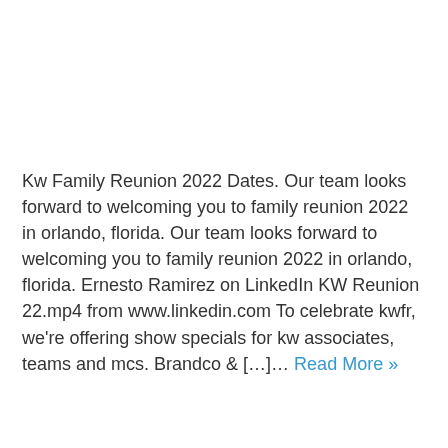Kw Family Reunion 2022 Dates. Our team looks forward to welcoming you to family reunion 2022 in orlando, florida. Our team looks forward to welcoming you to family reunion 2022 in orlando, florida. Ernesto Ramirez on LinkedIn KW Reunion 22.mp4 from www.linkedin.com To celebrate kwfr, we're offering show specials for kw associates, teams and mcs. Brandco & […]… Read More »
Nachrichten
2022
family
reunion
Kw Family Reunion 2022 Location
We use cookies to ensure that we give you the best experience on our website. If you continue to use this site we will assume that you are happy with it.